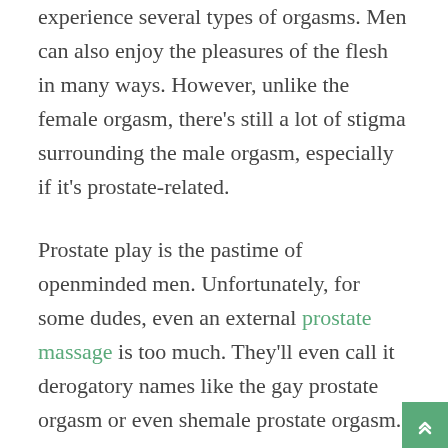experience several types of orgasms. Men can also enjoy the pleasures of the flesh in many ways. However, unlike the female orgasm, there's still a lot of stigma surrounding the male orgasm, especially if it's prostate-related.
Prostate play is the pastime of openminded men. Unfortunately, for some dudes, even an external prostate massage is too much. They'll even call it derogatory names like the gay prostate orgasm or even shemale prostate orgasm.
Communication is Key
Look, if your man doesn't want to give you